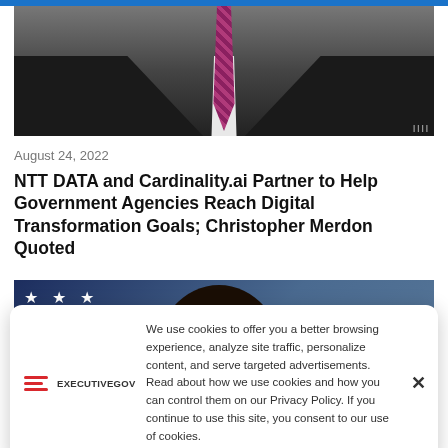[Figure (photo): Partial photo of a person in a dark suit with a purple/pink patterned tie, cropped at chest level]
August 24, 2022
NTT DATA and Cardinality.ai Partner to Help Government Agencies Reach Digital Transformation Goals; Christopher Merdon Quoted
[Figure (photo): Photo of a person with dark hair against an American flag background with stars visible]
We use cookies to offer you a better browsing experience, analyze site traffic, personalize content, and serve targeted advertisements. Read about how we use cookies and how you can control them on our Privacy Policy. If you continue to use this site, you consent to our use of cookies.